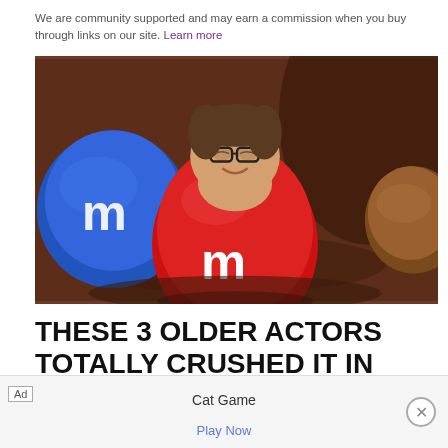We are community supported and may earn a commission when you buy through links on our site. Learn more
[Figure (photo): A person dressed in a red M&M costume submerged in chocolate, with a blue M&M candy visible on the left side and a brown M&M on the right side. The person's face is visible above the red M&M shell with glasses and a smile.]
THESE 3 OLDER ACTORS TOTALLY CRUSHED IT IN
Ad  Cat Game  Play Now